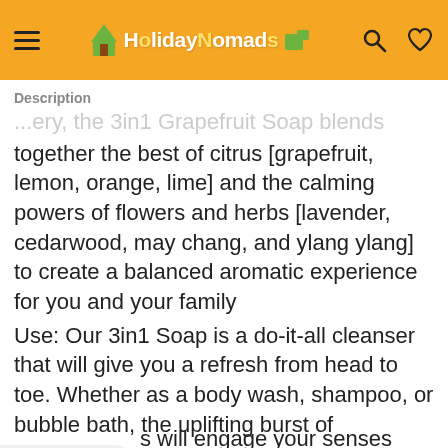HolidayNomads [hamburger menu, search, heart icons]
Description
together the best of citrus [grapefruit, lemon, orange, lime] and the calming powers of flowers and herbs [lavender, cedarwood, may chang, and ylang ylang] to create a balanced aromatic experience for you and your family
Use: Our 3in1 Soap is a do-it-all cleanser that will give you a refresh from head to toe. Whether as a body wash, shampoo, or bubble bath, the uplifting burst of [s] will engage your senses while gently nourishing
[Figure (screenshot): Advertisement banner: Hair Cuttery - Book a Same Day Appointment]